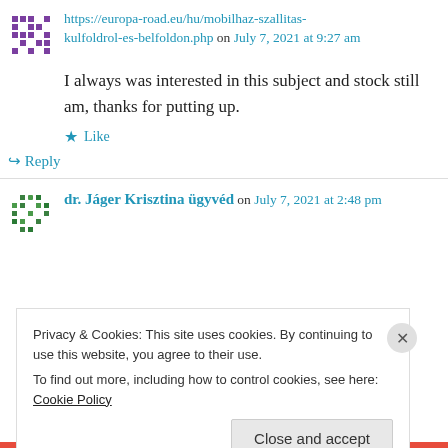https://europa-road.eu/hu/mobilhaz-szallitas-kulfoldrol-es-belfoldon.php on July 7, 2021 at 9:27 am
I always was interested in this subject and stock still am, thanks for putting up.
Like
Reply
dr. Jáger Krisztina ügyvéd on July 7, 2021 at 2:48 pm
Privacy & Cookies: This site uses cookies. By continuing to use this website, you agree to their use. To find out more, including how to control cookies, see here: Cookie Policy
Close and accept